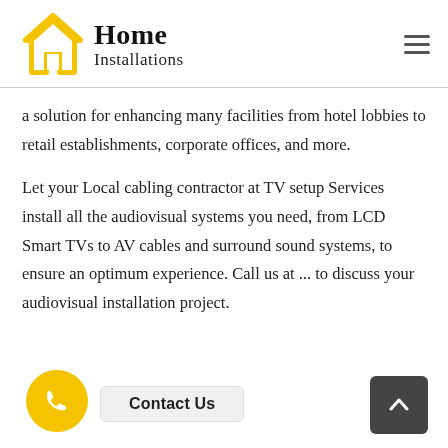Home Installations
a solution for enhancing many facilities from hotel lobbies to retail establishments, corporate offices, and more.
Let your Local cabling contractor at TV setup Services install all the audiovisual systems you need, from LCD Smart TVs to AV cables and surround sound systems, to ensure an optimum experience. Call us at ... to discuss your audiovisual installation project.